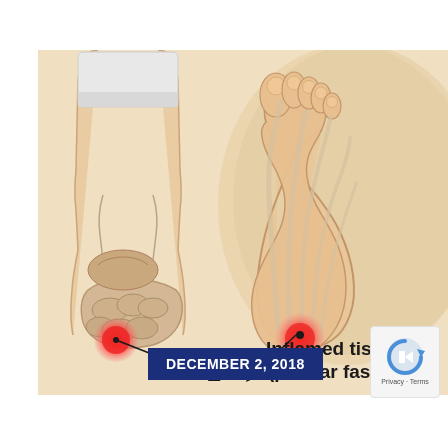[Figure (illustration): Medical illustration showing plantar fasciitis. Left side shows a skeletal/anatomical side view of the lower leg, ankle and heel bones with a red inflamed area at the heel. Right side shows the sole of a foot from below with tendons/plantar fascia visible and a red dot indicating the point of inflammation at the heel. Two lines with arrowheads point from the red inflamed areas to a label. Background is a warm beige/skin tone.]
Inflamed tissue (plantar fascia)
DECEMBER 2, 2018